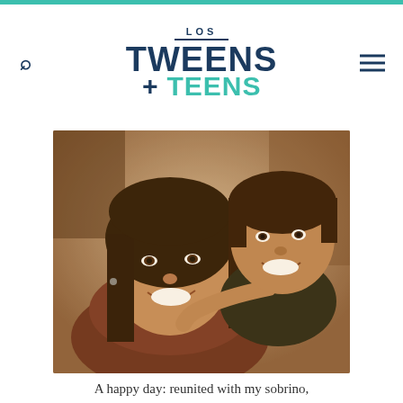LOS TWEENS & TEENS
[Figure (photo): A woman and a young boy smiling and hugging together in a warm, vintage-toned photograph]
A happy day: reunited with my sobrino,